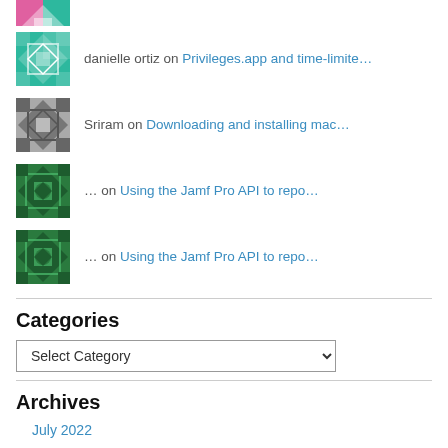[Figure (illustration): Partially visible avatar at top — colorful geometric pattern with pink/teal]
danielle ortiz on Privileges.app and time-limite…
Sriram on Downloading and installing mac…
… on Using the Jamf Pro API to repo…
… on Using the Jamf Pro API to repo…
Categories
Select Category (dropdown)
Archives
July 2022